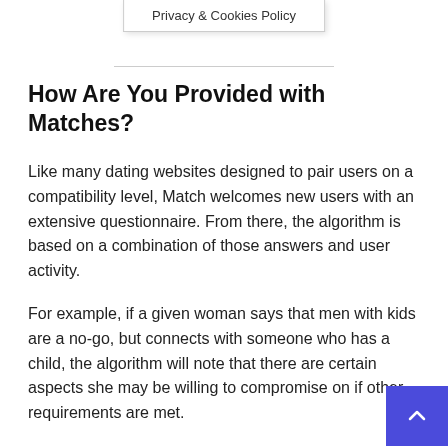Privacy & Cookies Policy
How Are You Provided with Matches?
Like many dating websites designed to pair users on a compatibility level, Match welcomes new users with an extensive questionnaire. From there, the algorithm is based on a combination of those answers and user activity.
For example, if a given woman says that men with kids are a no-go, but connects with someone who has a child, the algorithm will note that there are certain aspects she may be willing to compromise on if other requirements are met.